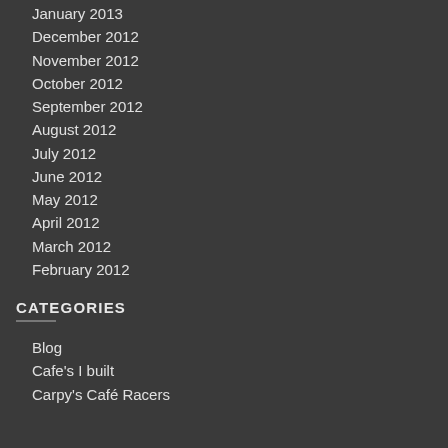January 2013
December 2012
November 2012
October 2012
September 2012
August 2012
July 2012
June 2012
May 2012
April 2012
March 2012
February 2012
CATEGORIES
Blog
Cafe's I built
Carpy's Café Racers